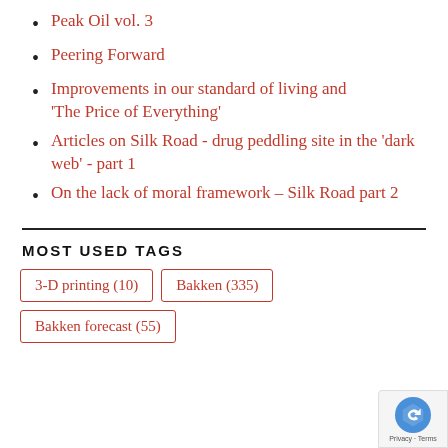Peak Oil vol. 3
Peering Forward
Improvements in our standard of living and 'The Price of Everything'
Articles on Silk Road - drug peddling site in the 'dark web' - part 1
On the lack of moral framework – Silk Road part 2
MOST USED TAGS
3-D printing (10)
Bakken (335)
Bakken forecast (55)